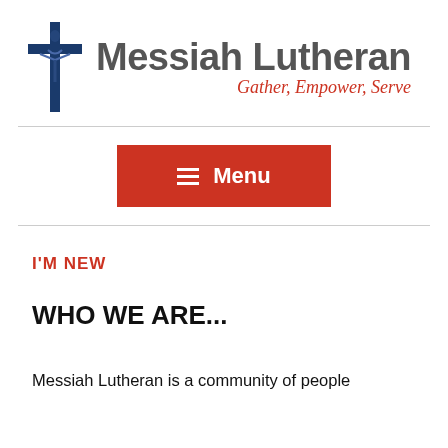[Figure (logo): Messiah Lutheran church logo with a blue Latin cross on the left, and text 'Messiah Lutheran' in dark gray large font, with tagline 'Gather, Empower, Serve' in red italic below]
[Figure (other): Red rectangular Menu button with hamburger icon (three horizontal white lines) and white bold text 'Menu']
I'M NEW
WHO WE ARE...
Messiah Lutheran is a community of people